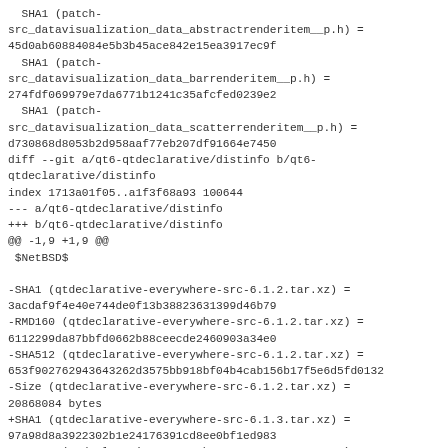SHA1 (patch-src_datavisualization_data_abstractrenderitem__p.h) = 45d0ab60884084e5b3b45ace842e15ea3917ec9f
  SHA1 (patch-src_datavisualization_data_barrenderitem__p.h) = 274fdf069979e7da6771b1241c35afcfed0239e2
  SHA1 (patch-src_datavisualization_data_scatterrenderitem__p.h) = d730868d8053b2d958aaf77eb207df91664e7450
diff --git a/qt6-qtdeclarative/distinfo b/qt6-qtdeclarative/distinfo
index 1713a01f05..a1f3f68a93 100644
--- a/qt6-qtdeclarative/distinfo
+++ b/qt6-qtdeclarative/distinfo
@@ -1,9 +1,9 @@
 $NetBSD$

-SHA1 (qtdeclarative-everywhere-src-6.1.2.tar.xz) = 3acdaf9f4e40e744de0f13b38823631399d46b79
-RMD160 (qtdeclarative-everywhere-src-6.1.2.tar.xz) = 6112299da87bbfd0662b88ceecde2460903a34e0
-SHA512 (qtdeclarative-everywhere-src-6.1.2.tar.xz) = 653f902762943643262d3575bb918bf04b4cab156b17f5e6d5fd0132
-Size (qtdeclarative-everywhere-src-6.1.2.tar.xz) = 20868084 bytes
+SHA1 (qtdeclarative-everywhere-src-6.1.3.tar.xz) = 97a98d8a3922302b1e24176391cd8ee0bf1ed983
+RMD160 (qtdeclarative-everywhere-src-6.1.3.tar.xz) = c8425c7cde4c9ebe1128b23e30248769e8d53e27
+SHA512 (qtdeclarative-everywhere-src-6.1.3.tar.xz) =